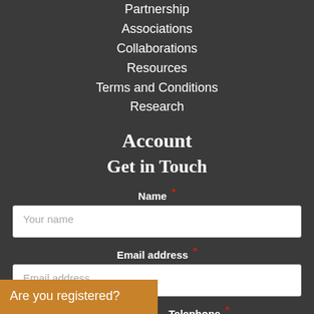Partnership
Associations
Collaborations
Resources
Terms and Conditions
Research
Account
Get in Touch
Name *
Your name
Email address *
Email address
Are you registered?
Telephone *